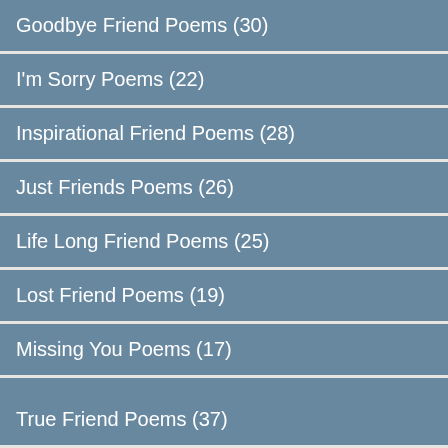Goodbye Friend Poems (30)
I'm Sorry Poems (22)
Inspirational Friend Poems (28)
Just Friends Poems (26)
Life Long Friend Poems (25)
Lost Friend Poems (19)
Missing You Poems (17)
Pet Friend Poems (22)
Short Friendship Poems (19)
Special Friend Poems (39)
Thank You Friend Poems (33)
True Friend Poems (37)